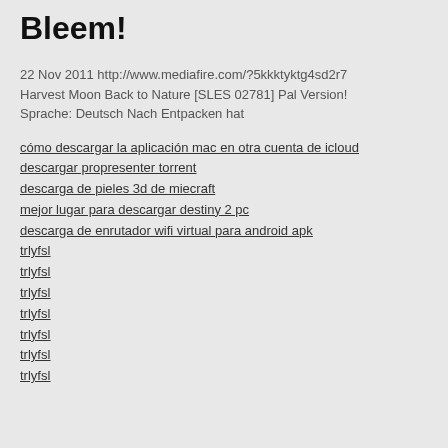Bleem!
22 Nov 2011 http://www.mediafire.com/?5kkktyktg4sd2r7
Harvest Moon Back to Nature [SLES 02781] Pal Version!
Sprache: Deutsch Nach Entpacken hat
cómo descargar la aplicación mac en otra cuenta de icloud
descargar propresenter torrent
descarga de pieles 3d de miecraft
mejor lugar para descargar destiny 2 pc
descarga de enrutador wifi virtual para android apk
trlyfsl
trlyfsl
trlyfsl
trlyfsl
trlyfsl
trlyfsl
trlyfsl